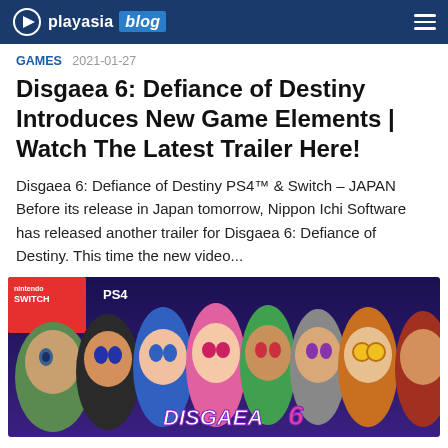playasia blog
GAMES 2021-01-27
Disgaea 6: Defiance of Destiny Introduces New Game Elements | Watch The Latest Trailer Here!
Disgaea 6: Defiance of Destiny PS4™ & Switch – JAPAN Before its release in Japan tomorrow, Nippon Ichi Software has released another trailer for Disgaea 6: Defiance of Destiny. This time the new video...
[Figure (photo): Disgaea 6: Defiance of Destiny game cover art showing multiple anime characters with Nintendo Switch and PS4 logos]